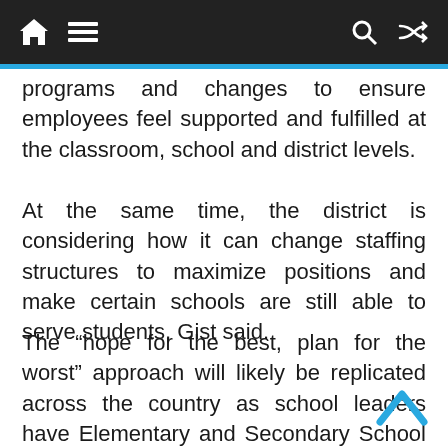[navigation bar with home, menu, search, shuffle icons]
programs and changes to ensure employees feel supported and fulfilled at the classroom, school and district levels.
At the same time, the district is considering how it can change staffing structures to maximize positions and make certain schools are still able to serve students, Gist said.
The “hope for the best, plan for the worst” approach will likely be replicated across the country as school leaders have Elementary and Secondary School Emergency Relief funds to hire additional staff but can’t find enough qualified employees.
Because of staff shortages, school leaders are